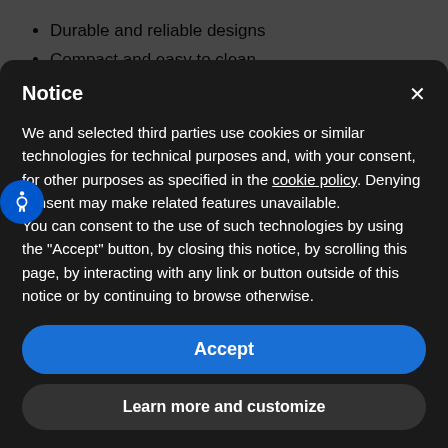Durable and reliable designs
Compact and easy to clean
Cryogenic grinding
The Mikro Pulverizer consists of a high-speed rotor assembly fitted with hammers. The grinding chamber is fitted with a cover
Notice
We and selected third parties use cookies or similar technologies for technical purposes and, with your consent, for other purposes as specified in the cookie policy. Denying consent may make related features unavailable.
You can consent to the use of such technologies by using the "Accept" button, by closing this notice, by scrolling this page, by interacting with any link or button outside of this notice or by continuing to browse otherwise.
Accept
Learn more and customize